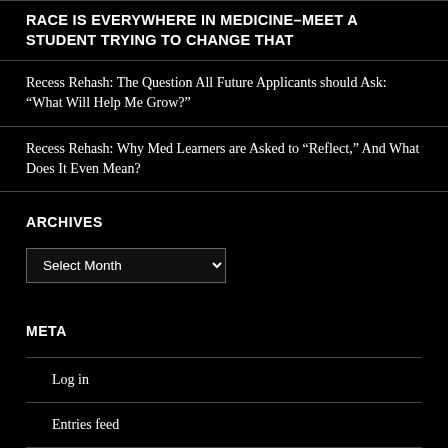RACE IS EVERYWHERE IN MEDICINE–MEET A STUDENT TRYING TO CHANGE THAT
Recess Rehash: The Question All Future Applicants should Ask: “What Will Help Me Grow?”
Recess Rehash: Why Med Learners are Asked to “Reflect,” And What Does It Even Mean?
ARCHIVES
META
Log in
Entries feed